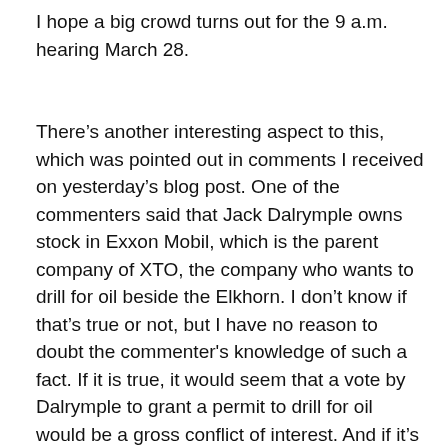I hope a big crowd turns out for the 9 a.m. hearing March 28.
There's another interesting aspect to this, which was pointed out in comments I received on yesterday's blog post. One of the commenters said that Jack Dalrymple owns stock in Exxon Mobil, which is the parent company of XTO, the company who wants to drill for oil beside the Elkhorn. I don't know if that's true or not, but I have no reason to doubt the commenter's knowledge of such a fact. If it is true, it would seem that a vote by Dalrymple to grant a permit to drill for oil would be a gross conflict of interest. And if it's so, Dalrymple is already guilty, because XTO has already received lots of drilling permits from the North Dakota Industrial Commission. Again, I'm not sure of the legalities here, but some attorney can probably help